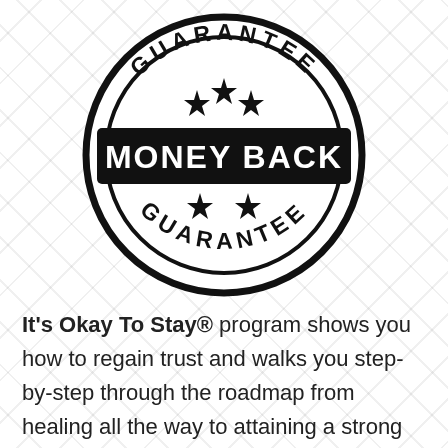[Figure (illustration): Money Back Guarantee circular stamp seal. Black circle outline with 'GUARANTEE' text arced on top and bottom. Three stars at top inside circle, two stars at bottom inside circle. Black rectangular banner across middle with white bold text 'MONEY BACK'.]
It's Okay To Stay® program shows you how to regain trust and walks you step-by-step through the roadmap from healing all the way to attaining a strong